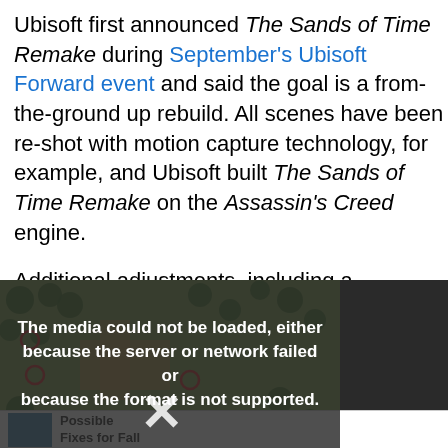Ubisoft first announced The Sands of Time Remake during September's Ubisoft Forward event and said the goal is a from-the-ground up rebuild. All scenes have been re-shot with motion capture technology, for example, and Ubisoft built The Sands of Time Remake on the Assassin's Creed engine.
Additional adjustments, including a revamped targeting system, will help bring the game up to modern gameplay standards. However, the remake includes the original Prince of Persia: Sands of Time
[Figure (screenshot): Video player showing a media load error: 'The media could not be loaded, either because the server or network failed or because the format is not supported.' with an X dismiss symbol. Behind the overlay is a partial game map screenshot. An advertisement panel is visible to the right with 'IQ TEST: FIND THE Fails & Epic Wins! #1477'.]
Possible Fixes for Fall